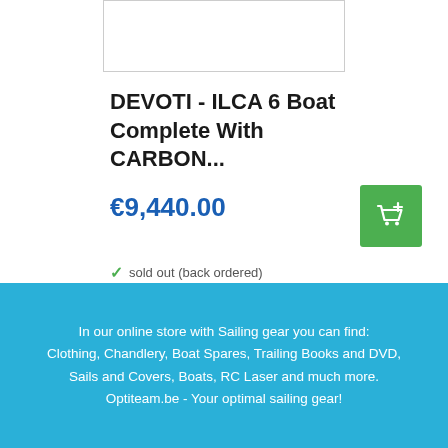[Figure (photo): Product image placeholder — white box with light grey border]
DEVOTI - ILCA 6 Boat Complete With CARBON...
€9,440.00
sold out (back ordered)
All products >
In our online store with Sailing gear you can find: Clothing, Chandlery, Boat Spares, Trailing Books and DVD, Sails and Covers, Boats, RC Laser and much more. Optiteam.be - Your optimal sailing gear!